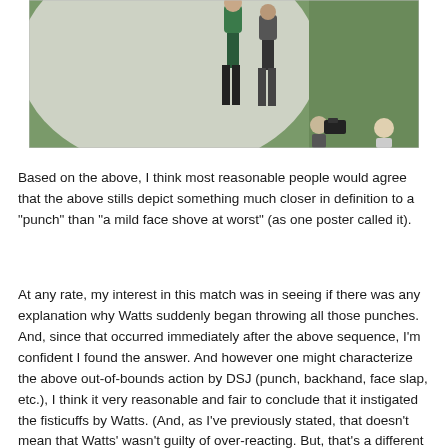[Figure (photo): Photo of wrestlers on a mat, taken from above. One wrestler appears to be in a green/teal singlet, another in dark shorts. A person with a camera is also visible near the mat edge. The mat has a large white circle on a green background.]
Based on the above, I think most reasonable people would agree that the above stills depict something much closer in definition to a "punch" than "a mild face shove at worst" (as one poster called it).
At any rate, my interest in this match was in seeing if there was any explanation why Watts suddenly began throwing all those punches. And, since that occurred immediately after the above sequence, I'm confident I found the answer. And however one might characterize the above out-of-bounds action by DSJ (punch, backhand, face slap, etc.), I think it very reasonable and fair to conclude that it instigated the fisticuffs by Watts. (And, as I've previously stated, that doesn't mean that Watts' wasn't guilty of over-reacting. But, that's a different subject